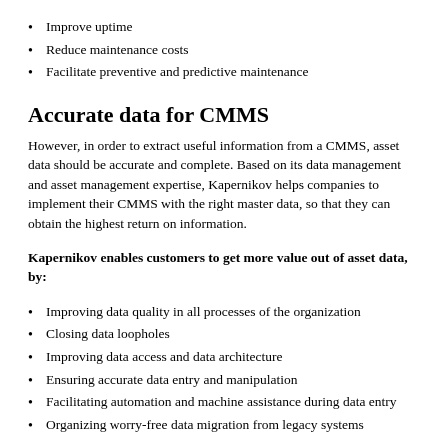Improve uptime
Reduce maintenance costs
Facilitate preventive and predictive maintenance
Accurate data for CMMS
However, in order to extract useful information from a CMMS, asset data should be accurate and complete. Based on its data management and asset management expertise, Kapernikov helps companies to implement their CMMS with the right master data, so that they can obtain the highest return on information.
Kapernikov enables customers to get more value out of asset data, by:
Improving data quality in all processes of the organization
Closing data loopholes
Improving data access and data architecture
Ensuring accurate data entry and manipulation
Facilitating automation and machine assistance during data entry
Organizing worry-free data migration from legacy systems